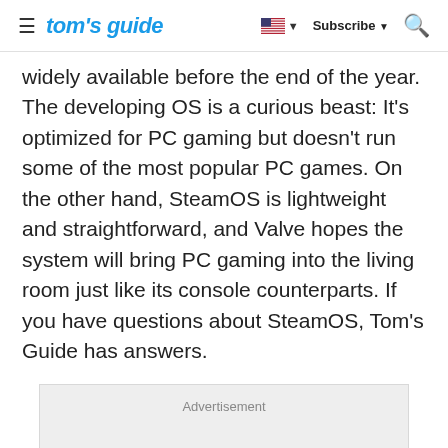tom's guide | Subscribe
widely available before the end of the year. The developing OS is a curious beast: It's optimized for PC gaming but doesn't run some of the most popular PC games. On the other hand, SteamOS is lightweight and straightforward, and Valve hopes the system will bring PC gaming into the living room just like its console counterparts. If you have questions about SteamOS, Tom's Guide has answers.
[Figure (other): Advertisement placeholder box with grey background]